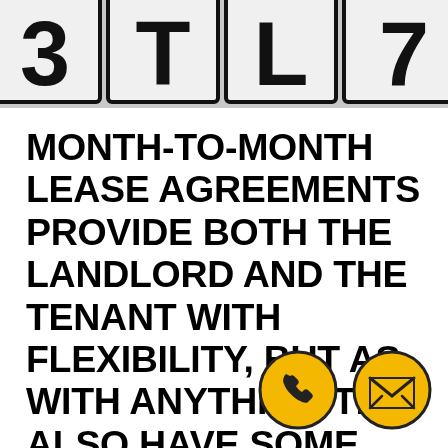[Figure (photo): Close-up photo of Scrabble-style letter tiles showing letters including what appears to be numbers or letters on white tiles with black borders, partially cropped at the top of the page.]
MONTH-TO-MONTH LEASE AGREEMENTS PROVIDE BOTH THE LANDLORD AND THE TENANT WITH FLEXIBILITY, BUT AS WITH ANYTHING THEY ALSO HAVE SOME DOWN SIDES
[Figure (illustration): Two circular yellow buttons with black outlines: one showing a phone/handset icon and one showing an envelope/mail icon.]